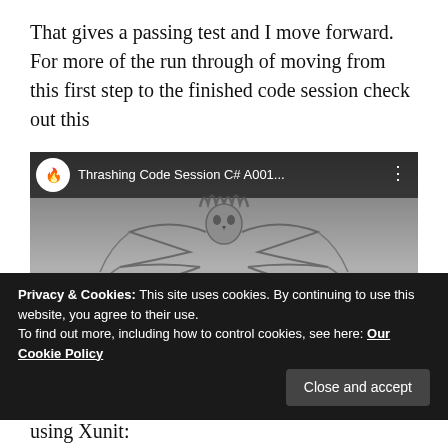That gives a passing test and I move forward. For more of the run through of moving from this first step to the finished code session check out this
[Figure (screenshot): YouTube video thumbnail for 'Thrashing Code Session C# A001...' showing the Thrashing Code logo with tribal wings and a YouTube play button overlay. A C# logo is visible in the bottom right corner.]
Privacy & Cookies: This site uses cookies. By continuing to use this website, you agree to their use.
To find out more, including how to control cookies, see here: Our Cookie Policy
using Xunit: